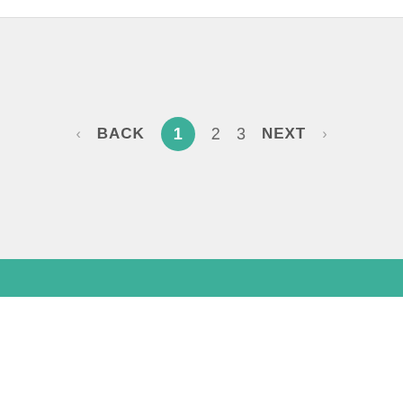[Figure (screenshot): Pagination control showing BACK, page 1 (active, teal circle), 2, 3, NEXT navigation]
By clicking “Accept All Cookies”, you agree to the storing of cookies on your device to enhance site navigation, analyze site usage, and assist in our marketing efforts.
Cookies Settings
Accept All Cookies